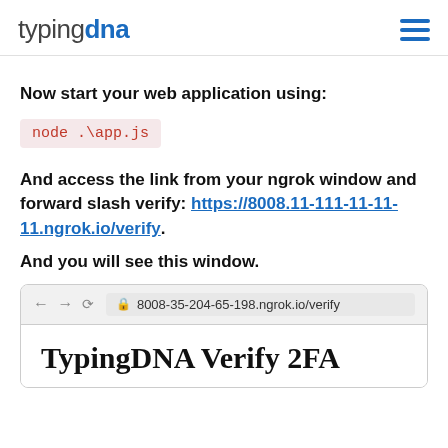typingdna
Now start your web application using:
node .\app.js
And access the link from your ngrok window and forward slash verify: https://8008.11-111-11-11-11.ngrok.io/verify.
And you will see this window.
[Figure (screenshot): Browser window mockup showing address bar with '8008-35-204-65-198.ngrok.io/verify' and page title 'TypingDNA Verify 2FA']